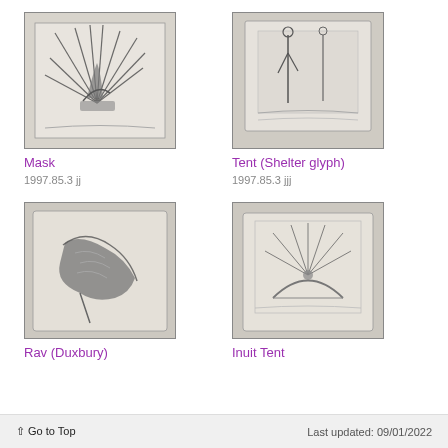[Figure (illustration): Pencil sketch artwork titled Mask — radiating lines from a central plant-like form on paper]
Mask
1997.85.3 jj
[Figure (illustration): Pencil sketch artwork titled Tent (Shelter glyph) — two figures standing in a rectangular frame]
Tent (Shelter glyph)
1997.85.3 jjj
[Figure (illustration): Pencil sketch artwork titled Rav (Duxbury) — a dark organic form resembling a bird or leaf]
Rav (Duxbury)
[Figure (illustration): Pencil sketch artwork titled Inuit Tent — radiating lines above a dome shape inside a rectangular frame]
Inuit Tent
↑ Go to Top    Last updated: 09/01/2022